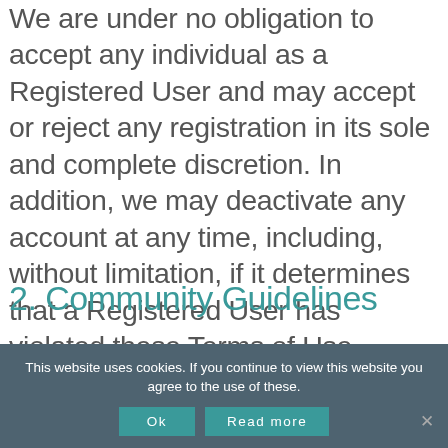We are under no obligation to accept any individual as a Registered User and may accept or reject any registration in its sole and complete discretion. In addition, we may deactivate any account at any time, including, without limitation, if it determines that a Registered User has violated these Terms of Use.
2. Community Guidelines
This website uses cookies. If you continue to view this website you agree to the use of these.